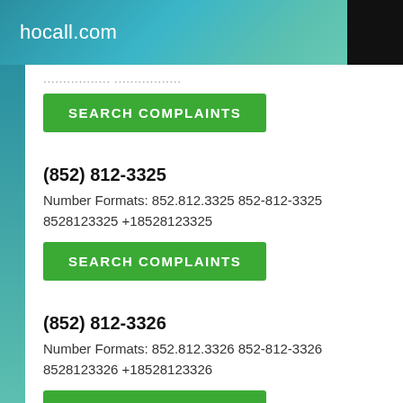hocall.com
(truncated phone number line)
SEARCH COMPLAINTS
(852) 812-3325
Number Formats: 852.812.3325 852-812-3325 8528123325 +18528123325
SEARCH COMPLAINTS
(852) 812-3326
Number Formats: 852.812.3326 852-812-3326 8528123326 +18528123326
SEARCH COMPLAINTS
(852) 812-3327
Number Formats: 852.812.3327 852-812-3327 8528123327 +18528123327